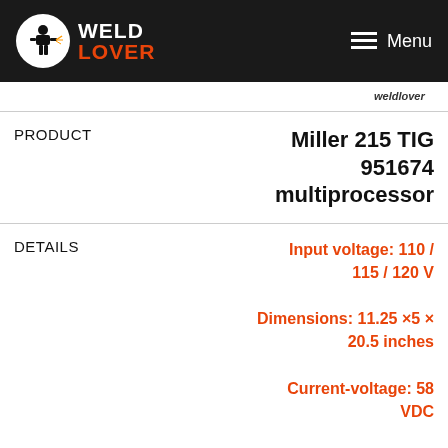WELD LOVER — Menu
| Field | Value |
| --- | --- |
| PRODUCT | Miller 215 TIG 951674 multiprocessor |
| DETAILS | Input voltage: 110 / 115 / 120 V
Dimensions: 11.25 ×5 × 20.5 inches
Current-voltage: 58 VDC
Input power: 120 to 240 V |
| PRICE | CHECK PRICE |